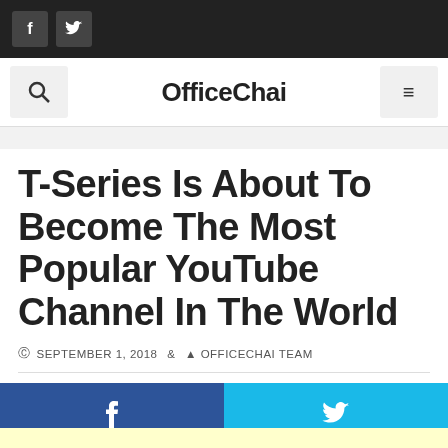f  twitter social icons top bar
OfficeChai
T-Series Is About To Become The Most Popular YouTube Channel In The World
SEPTEMBER 1, 2018  OFFICECHAI TEAM
[Figure (other): Facebook and Twitter share buttons - dark blue Facebook button and light blue Twitter button]